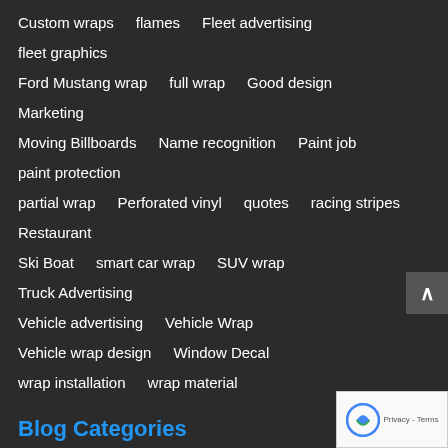Custom wraps   flames   Fleet advertising   fleet graphics
Ford Mustang wrap   full wrap   Good design   Marketing
Moving Billboards   Name recognition   Paint job   paint protection
partial wrap   Perforated vinyl   quotes   racing stripes   Restaurant
Ski Boat   smart car wrap   SUV wrap   Truck Advertising
Vehicle advertising   Vehicle Wrap   Vehicle wrap design   Window Decal
wrap installation   wrap material
Blog Categories
3D Vehicle wrap Design
Advertising
Affiliate Program
Alternate wrap use
Announcements
Boat Graphics
Boat Wraps